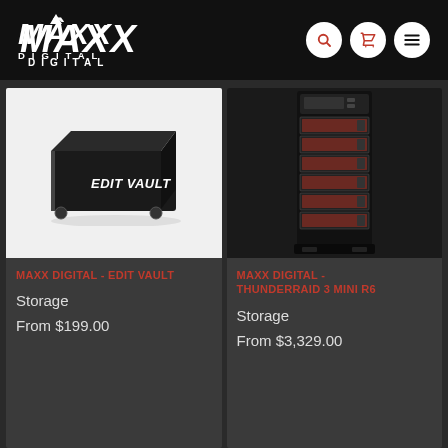MAXX DIGITAL
[Figure (photo): MAXX Digital Edit Vault storage device - black rectangular enclosure with 'Edit Vault' branding]
MAXX DIGITAL - EDIT VAULT
Storage
From $199.00
[Figure (photo): MAXX Digital ThunderRAID 3 Mini R6 - tall tower storage unit with red drive bays]
MAXX DIGITAL - THUNDERRAID 3 MINI R6
Storage
From $3,329.00